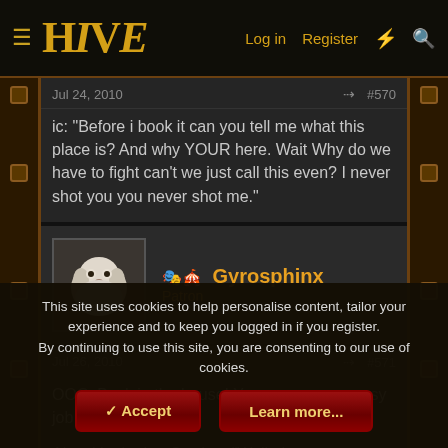HIVE — Log in | Register
Jul 24, 2010  #570
ic: "Before i book it can you tell me what this place is? And why YOUR here. Wait Why do we have to fight can't we just call this even? I never shot you you never shot me."
Gyrosphinx — Patron
Jul 26, 2010  #571
OOC: Back in tha house! You gave me an easy job catching up 🙂
Alexei looked at Gordon. "Well, that was my suggestions. It's up to you to decide what to do, but..." His gaze seemed to wander.
This site uses cookies to help personalise content, tailor your experience and to keep you logged in if you register.
By continuing to use this site, you are consenting to our use of cookies.